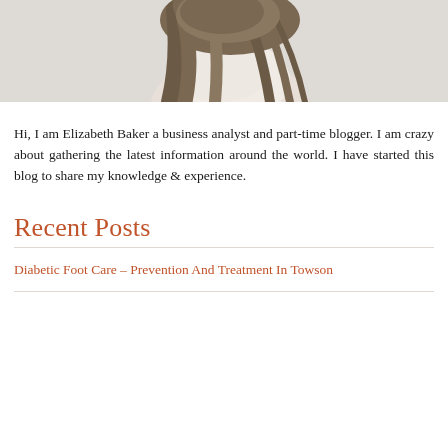[Figure (photo): Partial view of a woman with long brown hair wearing a white lace top, photographed from behind/side against a light grey background.]
Hi, I am Elizabeth Baker a business analyst and part-time blogger. I am crazy about gathering the latest information around the world. I have started this blog to share my knowledge & experience.
Recent Posts
Diabetic Foot Care – Prevention And Treatment In Towson